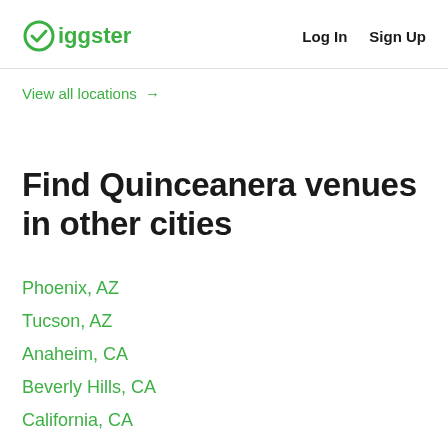Giggster  Log In  Sign Up
View all locations →
Find Quinceanera venues in other cities
Phoenix, AZ
Tucson, AZ
Anaheim, CA
Beverly Hills, CA
California, CA